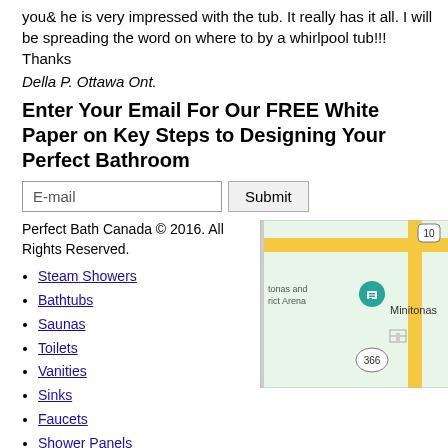you& he is very impressed with the tub. It really has it all. I will be spreading the word on where to by a whirlpool tub!!! Thanks
Della P. Ottawa Ont.
Enter Your Email For Our FREE White Paper on Key Steps to Designing Your Perfect Bathroom
E-mail [input] Submit [button]
Perfect Bath Canada © 2016. All Rights Reserved.
Steam Showers
Bathtubs
Saunas
Toilets
Vanities
Sinks
Faucets
Shower Panels
English English
French Francais (French)
[Figure (map): Google Maps screenshot showing Minitonas area with route 10 and route 366 visible, a location pin icon, and labels for 'tonas and rict Arena' and 'Minitonas']